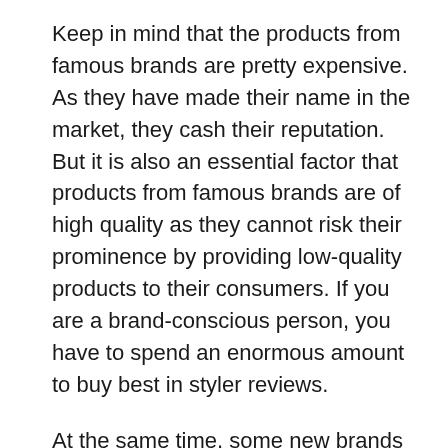Keep in mind that the products from famous brands are pretty expensive. As they have made their name in the market, they cash their reputation. But it is also an essential factor that products from famous brands are of high quality as they cannot risk their prominence by providing low-quality products to their consumers. If you are a brand-conscious person, you have to spend an enormous amount to buy best in styler reviews.
At the same time, some new brands in the market also provide the same quality, but because they do not have a renowned name, their products are economical. Their prices are low because they want to attract